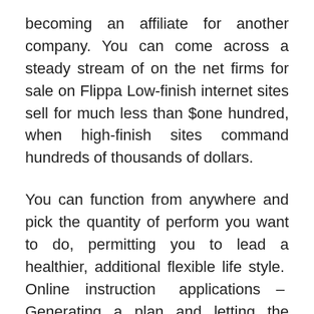becoming an affiliate for another company. You can come across a steady stream of on the net firms for sale on Flippa Low-finish internet sites sell for much less than $one hundred, when high-finish sites command hundreds of thousands of dollars.
You can function from anywhere and pick the quantity of perform you want to do, permitting you to lead a healthier, additional flexible life style. Online instruction applications – Generating a plan and letting the consumers understand themselves. If you have carpentry, plumbing, electrical, or other household